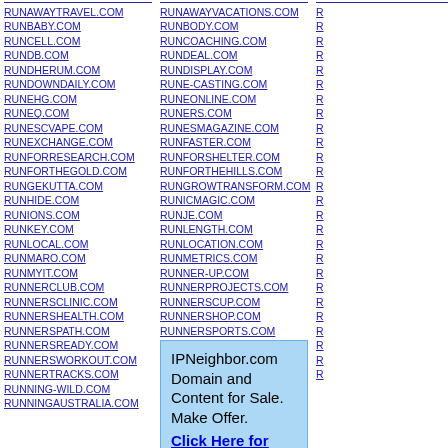RUNAWAYTRAVEL.COM
RUNBABY.COM
RUNCELL.COM
RUNDB.COM
RUNDHERUM.COM
RUNDOWNDAILY.COM
RUNEHG.COM
RUNEQ.COM
RUNESCVAPE.COM
RUNEXCHANGE.COM
RUNFORRESEARCH.COM
RUNFORTHEGOLD.COM
RUNGEKUTTA.COM
RUNHIDE.COM
RUNIONS.COM
RUNKEY.COM
RUNLOCAL.COM
RUNMARO.COM
RUNMYIT.COM
RUNNERCLUB.COM
RUNNERSCLINIC.COM
RUNNERSHEALTH.COM
RUNNERSPATH.COM
RUNNERSREADY.COM
RUNNERSWORKOUT.COM
RUNNERTRACKS.COM
RUNNING-WILD.COM
RUNNINGAUSTRALIA.COM
RUNAWAYVACATIONS.COM
RUNBODY.COM
RUNCOACHING.COM
RUNDEAL.COM
RUNDISPLAY.COM
RUNE-CASTING.COM
RUNEONLINE.COM
RUNERS.COM
RUNESMAGAZINE.COM
RUNFASTER.COM
RUNFORSHELTER.COM
RUNFORTHEHILLS.COM
RUNGROWTRANSFORM.COM
RUNICMAGIC.COM
RUNJE.COM
RUNLENGTH.COM
RUNLOCATION.COM
RUNMETRICS.COM
RUNNER-UP.COM
RUNNERPROJECTS.COM
RUNNERSCUP.COM
RUNNERSHOP.COM
RUNNERSPORTS.COM
IPNeighbor.com Domain and Content for Sale. Make Offer. Click Here for Info